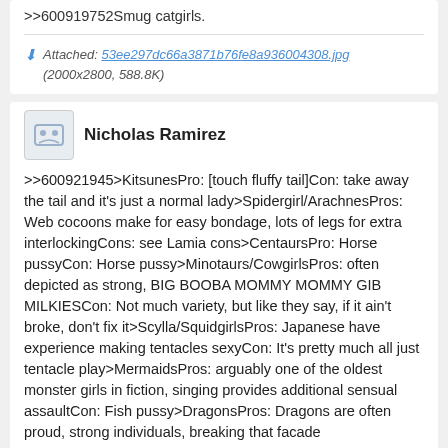>>600919752Smug catgirls.
Attached: 53ee297dc66a3871b76fe8a936004308.jpg (2000x2800, 588.8K)
Nicholas Ramirez
>>600921945>KitsunesPro: [touch fluffy tail]Con: take away the tail and it's just a normal lady>Spidergirl/ArachnesPros: Web cocoons make for easy bondage, lots of legs for extra interlockingCons: see Lamia cons>CentaursPro: Horse pussyCon: Horse pussy>Minotaurs/CowgirlsPros: often depicted as strong, BIG BOOBA MOMMY MOMMY GIB MILKIESCon: Not much variety, but like they say, if it ain't broke, don't fix it>Scylla/SquidgirlsPros: Japanese have experience making tentacles sexyCon: It's pretty much all just tentacle play>MermaidsPros: arguably one of the oldest monster girls in fiction, singing provides additional sensual assaultCon: Fish pussy>DragonsPros: Dragons are often proud, strong individuals, breaking that facade